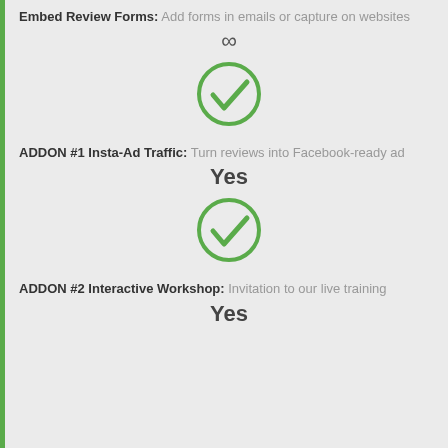Embed Review Forms: Add forms in emails or capture on websites
∞
[Figure (illustration): Green circle checkmark icon]
ADDON #1 Insta-Ad Traffic: Turn reviews into Facebook-ready ad
Yes
[Figure (illustration): Green circle checkmark icon]
ADDON #2 Interactive Workshop: Invitation to our live training
Yes